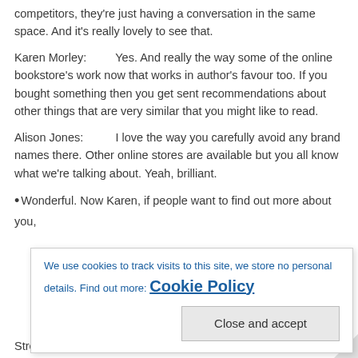competitors, they're just having a conversation in the same space. And it's really lovely to see that.
Karen Morley: Yes. And really the way some of the online bookstore's work now that works in author's favour too. If you bought something then you get sent recommendations about other things that are very similar that you might like to read.
Alison Jones: I love the way you carefully avoid any brand names there. Other online stores are available but you all know what we're talking about. Yeah, brilliant.
Wonderful. Now Karen, if people want to find out more about you,
We use cookies to track visits to this site, we store no personal details. Find out more: Cookie Policy
Close and accept
Street, who have been absolutely fantastic to work with.